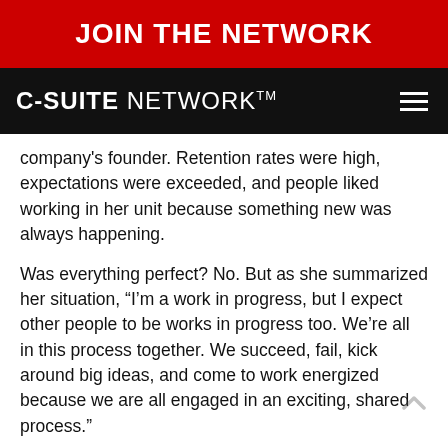JOIN THE NETWORK
C-SUITE NETWORK ™
company's founder. Retention rates were high, expectations were exceeded, and people liked working in her unit because something new was always happening.
Was everything perfect? No. But as she summarized her situation, “I’m a work in progress, but I expect other people to be works in progress too. We’re all in this process together. We succeed, fail, kick around big ideas, and come to work energized because we are all engaged in an exciting, shared process.”
Inceased Leadership Is Progress, Not Perfection